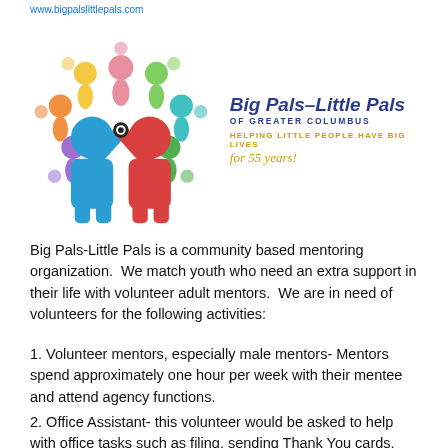www.bigpalslittlepals.com
[Figure (logo): Big Pals-Little Pals of Greater Columbus logo: colorful people silhouettes in a circle on the left, and on the right the text 'Big Pals-Little Pals OF GREATER COLUMBUS' in blue italic, 'HELPING LITTLE PEOPLE HAVE BIG LIVES FOR 55 years!' in gold.]
Big Pals-Little Pals is a community based mentoring organization.  We match youth who need an extra support in their life with volunteer adult mentors.  We are in need of volunteers for the following activities:
1. Volunteer mentors, especially male mentors- Mentors spend approximately one hour per week with their mentee and attend agency functions.
2. Office Assistant- this volunteer would be asked to help with office tasks such as filing, sending Thank You cards,